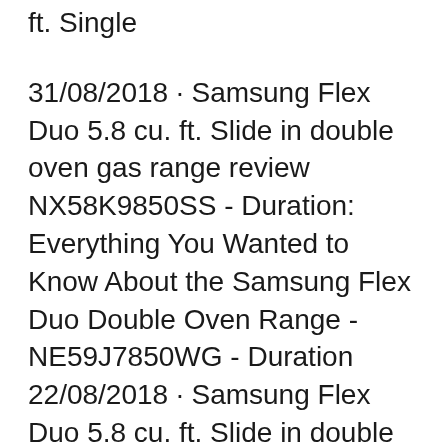ft. Single
31/08/2018 · Samsung Flex Duo 5.8 cu. ft. Slide in double oven gas range review NX58K9850SS - Duration: Everything You Wanted to Know About the Samsung Flex Duo Double Oven Range - NE59J7850WG - Duration 22/08/2018 · Samsung Flex Duo 5.8 cu. ft. Slide in double oven gas range review NX58K9850SS Samsung NE59M6850SS/AA Electric Range with Flex Duo 30 Day Review – Roasting Hatch Green Chiles - ...
11/10/2016 · The Samsung Wi-Fi Slide-In Range with Soft Close and Dual Door has one large oven, but thanks to a